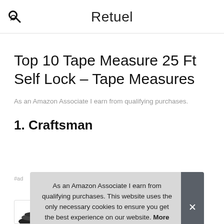Retuel
Top 10 Tape Measure 25 Ft Self Lock – Tape Measures
As an Amazon Associate I earn from qualifying purchases.
1. Craftsman
As an Amazon Associate I earn from qualifying purchases. This website uses the only necessary cookies to ensure you get the best experience on our website. More information